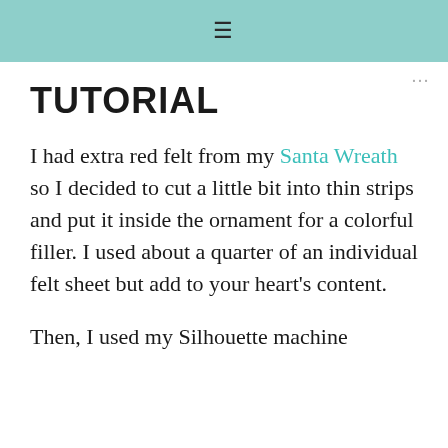≡
TUTORIAL
I had extra red felt from my Santa Wreath so I decided to cut a little bit into thin strips and put it inside the ornament for a colorful filler. I used about a quarter of an individual felt sheet but add to your heart's content.
Then, I used my Silhouette machine